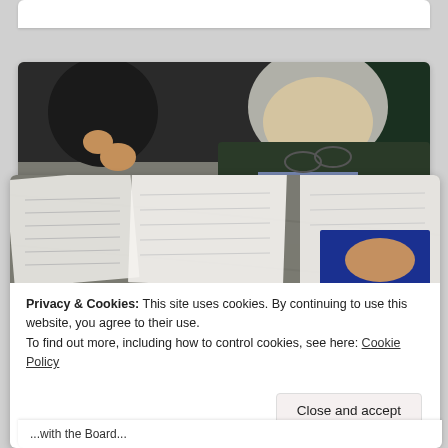[Figure (photo): Overhead view of people at a conference table reviewing documents and papers. A grey-haired man in a dark suit and blue shirt leans forward signing or reviewing papers. Another person is visible to the left also writing. The table has various papers, notebooks, pens, and a blue booklet/brochure spread across it.]
Privacy & Cookies: This site uses cookies. By continuing to use this website, you agree to their use.
To find out more, including how to control cookies, see here: Cookie Policy
Close and accept
...with the Board...